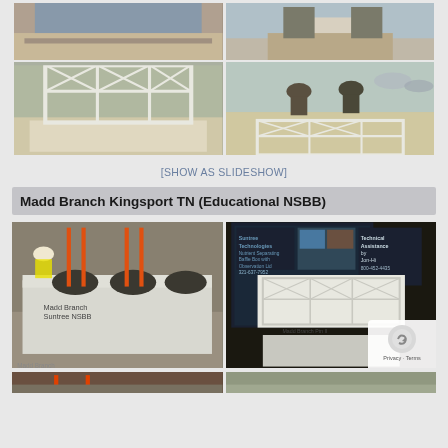[Figure (photo): Two construction photos showing concrete baffle box installation with wooden frame lid, top row]
[Figure (photo): Two construction photos showing concrete baffle box installation, workers placing lid, bottom row first set]
[SHOW AS SLIDESHOW]
Madd Branch Kingsport TN (Educational NSBB)
[Figure (photo): Left: Madd Branch Suntree NSBB concrete structure with orange rods and circular openings, labeled 'Madd Branch Suntree NSBB'. Right: Informational sign for Suntree Technologies Nutrient Separating Baffle Box with observation lid, with technical assistance by Jon-Hi, 321-637-7952, 800-452-4435. Shows interior photos and label 'Madd Branch Ptn II'. Bottom right: reCAPTCHA privacy overlay.]
[Figure (photo): Bottom strip: two partial photos visible at very bottom of page]